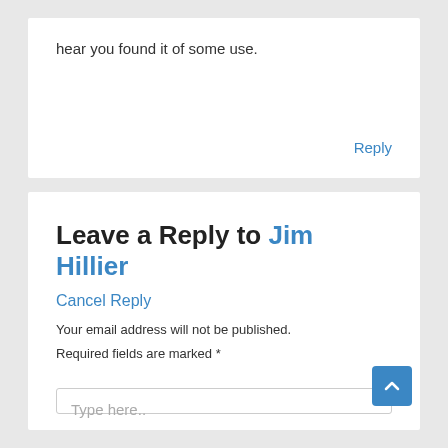hear you found it of some use.
Reply
Leave a Reply to Jim Hillier
Cancel Reply
Your email address will not be published.
Required fields are marked *
Type here..